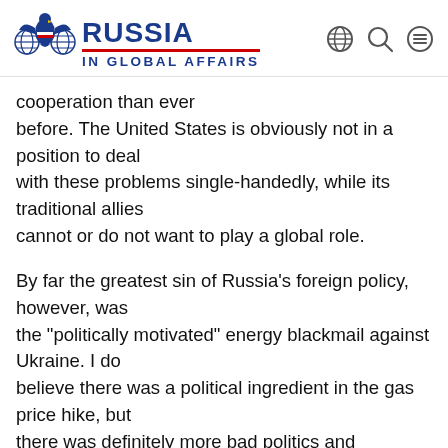RUSSIA IN GLOBAL AFFAIRS
cooperation than ever before. The United States is obviously not in a position to deal with these problems single-handedly, while its traditional allies cannot or do not want to play a global role.

By far the greatest sin of Russia’s foreign policy, however, was the “politically motivated” energy blackmail against Ukraine. I do believe there was a political ingredient in the gas price hike, but there was definitely more bad politics and corruption in the decade-long practice of selling natural gas to Ukraine at